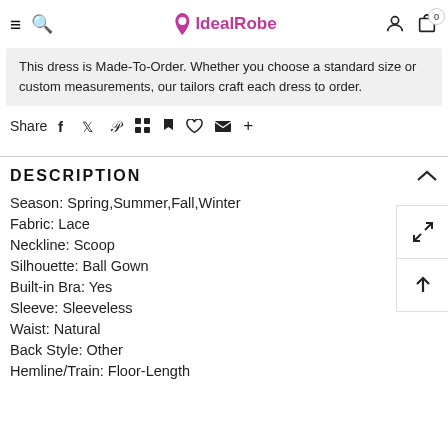IdealRobe
This dress is Made-To-Order. Whether you choose a standard size or custom measurements, our tailors craft each dress to order.
Share
DESCRIPTION
Season: Spring,Summer,Fall,Winter
Fabric: Lace
Neckline: Scoop
Silhouette: Ball Gown
Built-in Bra: Yes
Sleeve: Sleeveless
Waist: Natural
Back Style: Other
Hemline/Train: Floor-Length